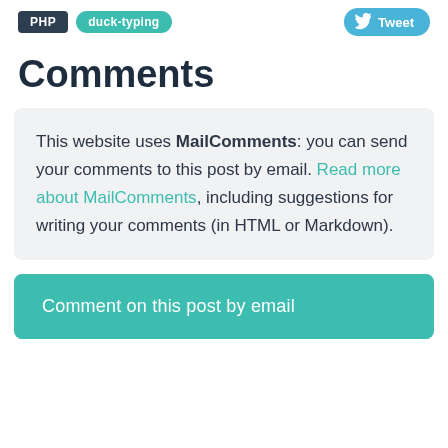PHP  duck-typing  Tweet
Comments
This website uses MailComments: you can send your comments to this post by email. Read more about MailComments, including suggestions for writing your comments (in HTML or Markdown).
Comment on this post by email